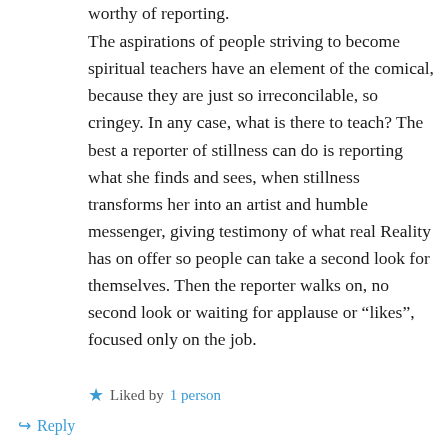worthy of reporting.
The aspirations of people striving to become spiritual teachers have an element of the comical, because they are just so irreconcilable, so cringey. In any case, what is there to teach? The best a reporter of stillness can do is reporting what she finds and sees, when stillness transforms her into an artist and humble messenger, giving testimony of what real Reality has on offer so people can take a second look for themselves. Then the reporter walks on, no second look or waiting for applause or “likes”, focused only on the job.
Liked by 1 person
Reply